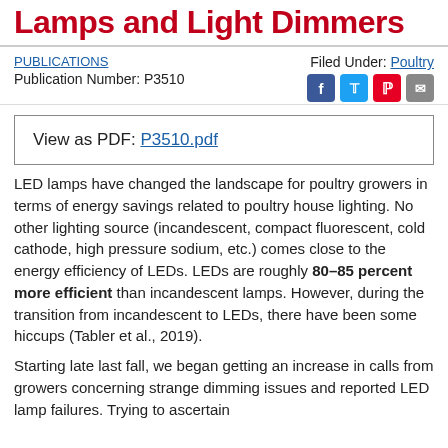Lamps and Light Dimmers
PUBLICATIONS | Filed Under: Poultry | Publication Number: P3510
View as PDF: P3510.pdf
LED lamps have changed the landscape for poultry growers in terms of energy savings related to poultry house lighting. No other lighting source (incandescent, compact fluorescent, cold cathode, high pressure sodium, etc.) comes close to the energy efficiency of LEDs. LEDs are roughly 80–85 percent more efficient than incandescent lamps. However, during the transition from incandescent to LEDs, there have been some hiccups (Tabler et al., 2019).
Starting late last fall, we began getting an increase in calls from growers concerning strange dimming issues and reported LED lamp failures. Trying to ascertain…